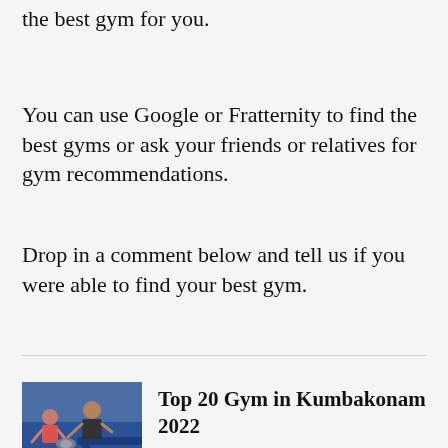the best gym for you.
You can use Google or Fratternity to find the best gyms or ask your friends or relatives for gym recommendations.
Drop in a comment below and tell us if you were able to find your best gym.
[Figure (photo): Two people exercising with weights in a gym, blue equipment visible in background]
Top 20 Gym in Kumbakonam 2022